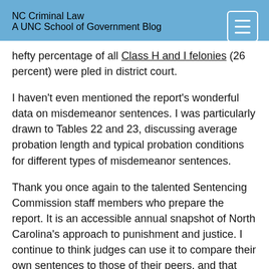NC Criminal Law
A UNC School of Government Blog
hefty percentage of all Class H and I felonies (26 percent) were pled in district court.
I haven't even mentioned the report's wonderful data on misdemeanor sentences. I was particularly drawn to Tables 22 and 23, discussing average probation length and typical probation conditions for different types of misdemeanor sentences.
Thank you once again to the talented Sentencing Commission staff members who prepare the report. It is an accessible annual snapshot of North Carolina's approach to punishment and justice. I continue to think judges can use it to compare their own sentences to those of their peers, and that advocates can use it to make arguments about the appropriate sentence in a particular case. I am grateful to the Commission for its